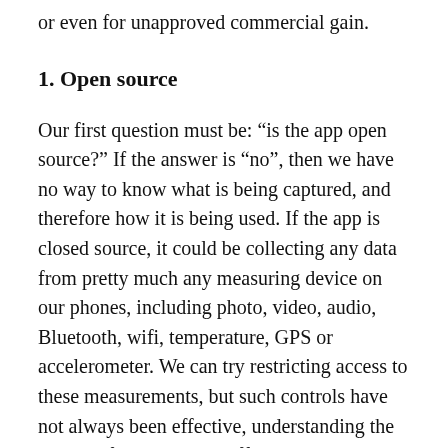or even for unapproved commercial gain.
1. Open source
Our first question must be: “is the app open source?” If the answer is “no”, then we have no way to know what is being captured, and therefore how it is being used. If the app is closed source, it could be collecting any data from pretty much any measuring device on our phones, including photo, video, audio, Bluetooth, wifi, temperature, GPS or accelerometer. We can try restricting access to these measurements, but such controls have not always been effective, understanding the impact of turning them off is rarely simple